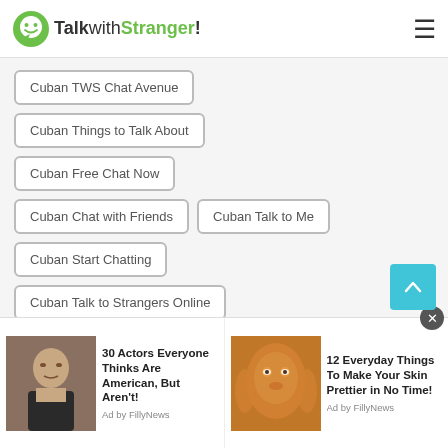TalkwithStranger!
Cuban TWS Chat Avenue
Cuban Things to Talk About
Cuban Free Chat Now
Cuban Chat with Friends
Cuban Talk to Me
Cuban Start Chatting
Cuban Talk to Strangers Online
Cuban Chat USA
Cuban Free Phone Chat
Cuban Make Friends
Cuban Chat Gratis
[Figure (screenshot): Advertisement banner: '30 Actors Everyone Thinks Are American, But Aren't!' with photo of man in suit, Ad by FillyNews]
[Figure (screenshot): Advertisement banner: '12 Everyday Things To Make Your Skin Prettier in No Time!' with photo of woman with face mask, Ad by FillyNews]